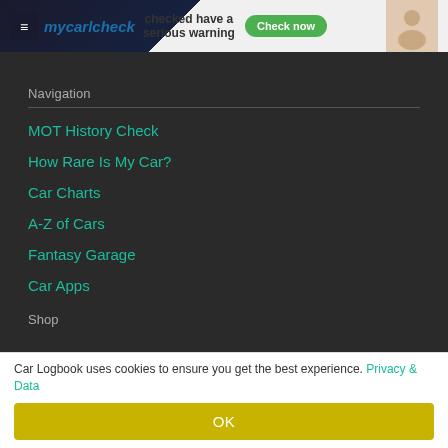[Figure (screenshot): MyCarlCheck advertisement banner with logo, tagline 'checked have a serious warning', green Check Now button, and photo of people]
Navigation
MOT History Check
How Rare Is My Car?
Car Charts
A-Z of Cars
Fantasy Garage
Car Apps
Shop
Car Logbook uses cookies to ensure you get the best experience. Privacy & Data
OK